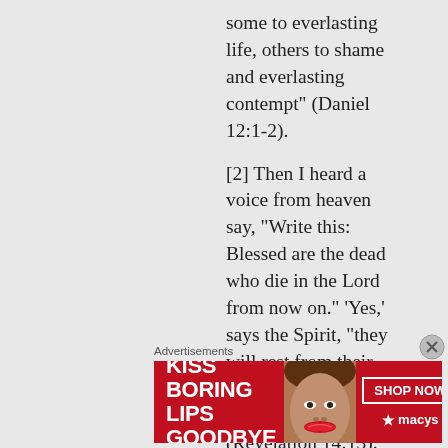some to everlasting life, others to shame and everlasting contempt” (Daniel 12:1-2).
[2] Then I heard a voice from heaven say, “Write this: Blessed are the dead who die in the Lord from now on.” ‘Yes,’ says the Spirit, “they will rest from their labor, for their deeds will follow them.” (Revelation 14:13).
No, I don’t see any Biblical or prophetic significance in the fact that a nation exists today in the Middle East bearing the name Israel. I believe that Biblical Israel’s last
Advertisements
[Figure (photo): Advertisement banner for Macy's lip products. Red background with text 'KISS BORING LIPS GOODBYE', a woman's face showing lips with red lipstick, a 'SHOP NOW' button and Macy's star logo.]